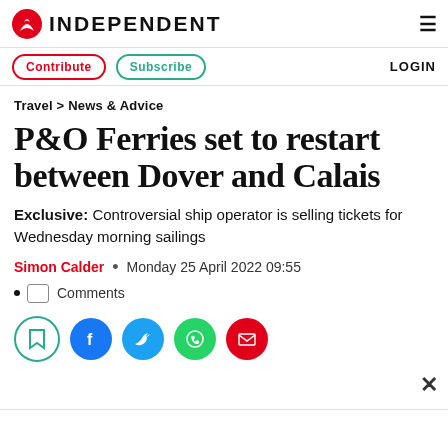INDEPENDENT
Contribute  Subscribe  LOGIN
Travel > News & Advice
P&O Ferries set to restart between Dover and Calais
Exclusive: Controversial ship operator is selling tickets for Wednesday morning sailings
Simon Calder • Monday 25 April 2022 09:55
Comments
[Figure (other): Social sharing buttons: bookmark, Facebook, Twitter, WhatsApp, Email]